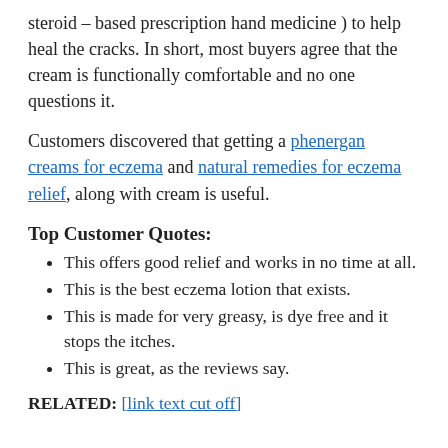steroid – based prescription hand medicine ) to help heal the cracks. In short, most buyers agree that the cream is functionally comfortable and no one questions it.
Customers discovered that getting a phenergan creams for eczema and natural remedies for eczema relief, along with cream is useful.
Top Customer Quotes:
This offers good relief and works in no time at all.
This is the best eczema lotion that exists.
This is made for very greasy, is dye free and it stops the itches.
This is great, as the reviews say.
RELATED: